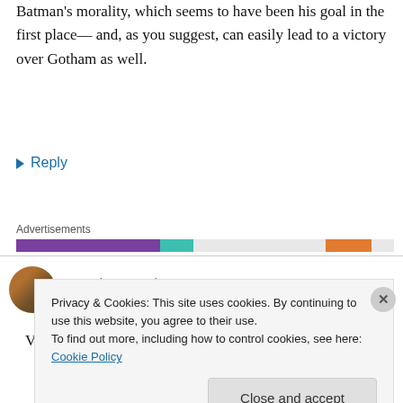Batman's morality, which seems to have been his goal in the first place— and, as you suggest, can easily lead to a victory over Gotham as well.
↳ Reply
[Figure (other): Advertisements bar with colored segments: purple, teal, light gray, orange, light gray]
Brandon on July 20, 2008 at 2:17 am
Very nice analysis of the film. I think you've
Privacy & Cookies: This site uses cookies. By continuing to use this website, you agree to their use.
To find out more, including how to control cookies, see here: Cookie Policy
Close and accept